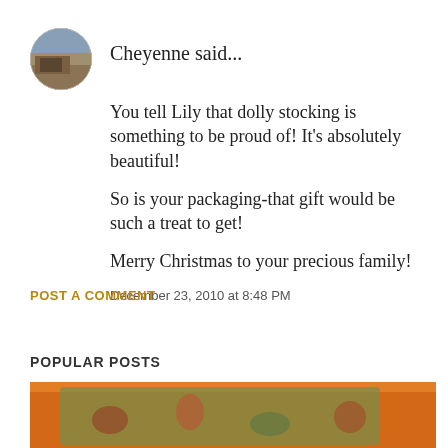[Figure (photo): Circular avatar photo of Cheyenne showing a landscape scene with earth tones]
Cheyenne said...
You tell Lily that dolly stocking is something to be proud of! It's absolutely beautiful!
So is your packaging-that gift would be such a treat to get!
Merry Christmas to your precious family!
December 23, 2010 at 8:48 PM
POST A COMMENT
POPULAR POSTS
[Figure (photo): Blurred close-up photo of colorful patterned fabric or quilt with orange, green, red colors on orange background]